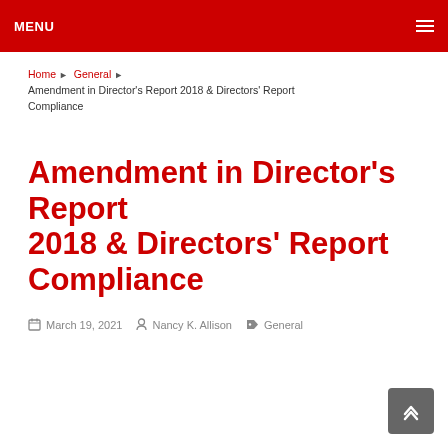MENU
Home ▶ General ▶ Amendment in Director's Report 2018 & Directors' Report Compliance
Amendment in Director's Report 2018 & Directors' Report Compliance
March 19, 2021   Nancy K. Allison   General